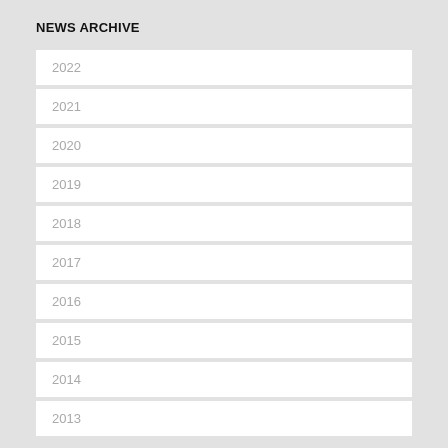NEWS ARCHIVE
2022
2021
2020
2019
2018
2017
2016
2015
2014
2013